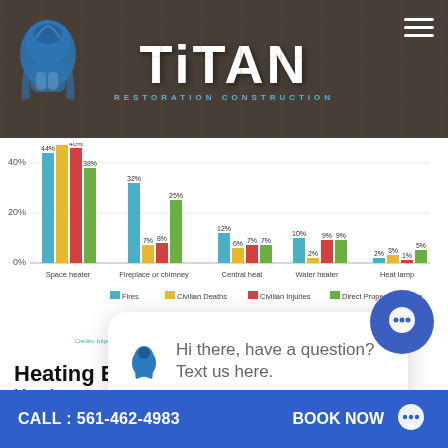TITAN RESTORATION CONSTRUCTION
[Figure (grouped-bar-chart): Heating Equipment Fire Statistics]
Credits: https://www.nfpa.org/News-and-Research/Data-research-and-tools/US-Fire-Problem/Heating-equipment
Heating Eq...
Heating equipment is a leading cause of residential fire in the United States. Heating equipment accounts for...
CALL : 561-462-4983    BOOK NOW